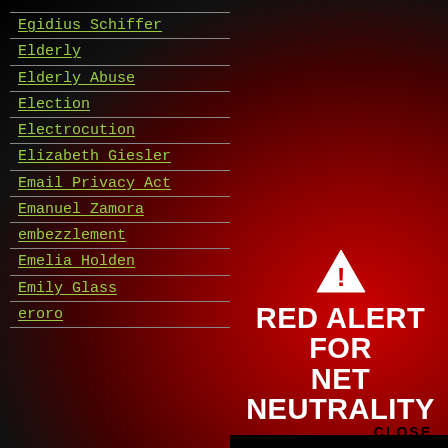Egidius Schiffer
Elderly
Elderly Abuse
Election
Electrocution
Elizabeth Giesler
Email Privacy Act
Emanuel Zamora
embezzlement
Emelia Holden
Emily Glass
eroro
[Figure (infographic): Red Alert for Net Neutrality overlay with warning triangle, bold white text 'RED ALERT FOR NET NEUTRALITY', black button 'TAKE ACTION', and 'CLOSE' text link]
TAKE ACTION
CLOSE